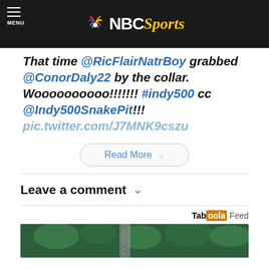NBC Sports
That time @RicFlairNatrBoy grabbed @ConorDaly22 by the collar. Woooooooooo!!!!!!! #indy500 cc @Indy500SnakePit!!! pic.twitter.com/J7MNK9cszu
Read More
Leave a comment
[Figure (photo): Aerial photo of trees and roads, Taboola feed advertisement image]